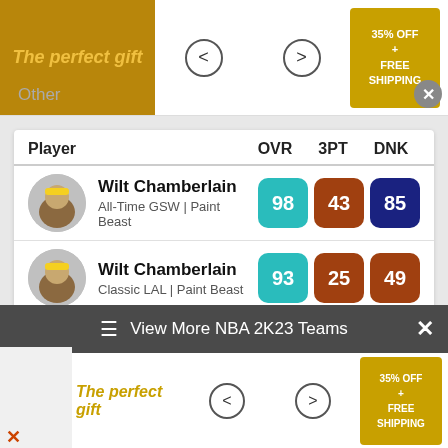[Figure (screenshot): Top advertisement banner with 'The perfect gift' text in italic gold, navigation arrows, and '35% OFF + FREE SHIPPING' promo badge]
Other
| Player | OVR | 3PT | DNK |
| --- | --- | --- | --- |
| Wilt Chamberlain
All-Time GSW | Paint Beast | 98 | 43 | 85 |
| Wilt Chamberlain
Classic LAL | Paint Beast | 93 | 25 | 49 |
| Wilt Chamberlain
All-Time PHI | Paint Beast | 93 | 43 | 75 |
| Wilt Chamberlain
All-Time LAL | Paint Beast | 91 | 43 | 75 |
View More NBA 2K23 Teams
[Figure (screenshot): Bottom advertisement banner with 'The perfect gift' text in italic gold, navigation arrows, and '35% OFF + FREE SHIPPING' promo badge]